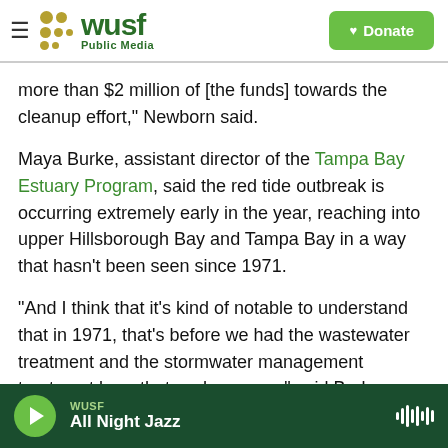[Figure (logo): WUSF Public Media logo with hamburger menu and Donate button]
more than $2 million of [the funds] towards the cleanup effort,” Newborn said.
Maya Burke, assistant director of the Tampa Bay Estuary Program, said the red tide outbreak is occurring extremely early in the year, reaching into upper Hillsborough Bay and Tampa Bay in a way that hasn’t been seen since 1971.
“And I think that it's kind of notable to understand that in 1971, that's before we had the wastewater treatment and the stormwater management treatment laws that we have now,” said Burke.
WUSF All Night Jazz